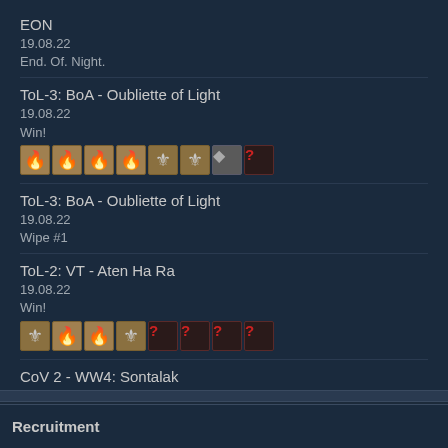EON
19.08.22
End. Of. Night.
ToL-3: BoA - Oubliette of Light
19.08.22
Win!
ToL-3: BoA - Oubliette of Light
19.08.22
Wipe #1
ToL-2: VT - Aten Ha Ra
19.08.22
Win!
CoV 2 - WW4: Sontalak
19.08.22
Win!
Recruitment